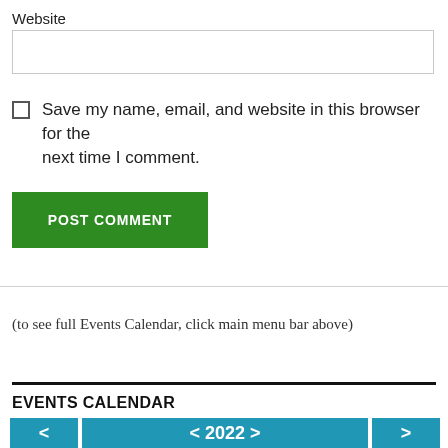Website
Save my name, email, and website in this browser for the next time I comment.
POST COMMENT
(to see full Events Calendar, click main menu bar above)
EVENTS CALENDAR
[Figure (other): Events calendar navigation bar showing < 2022 > year navigation with teal/blue background]